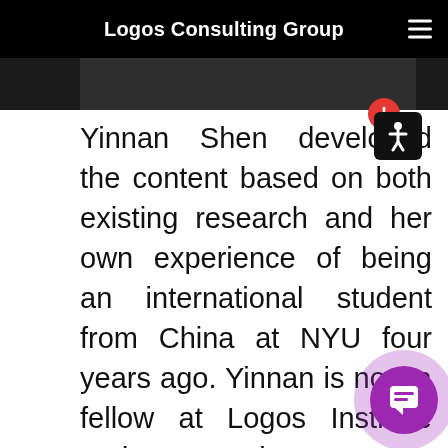Logos Consulting Group
[Figure (photo): Cropped photo strip at top of page showing partial image, dark tones]
Yinnan Shen developed the content based on both existing research and her own experience of being an international student from China at NYU four years ago. Yinnan is now a fellow at Logos Institute and an associate at Logos Consulting Group. She joined Logos in 2017, and has since researched and developed intellectual capital inclu how leaders can do diversity and